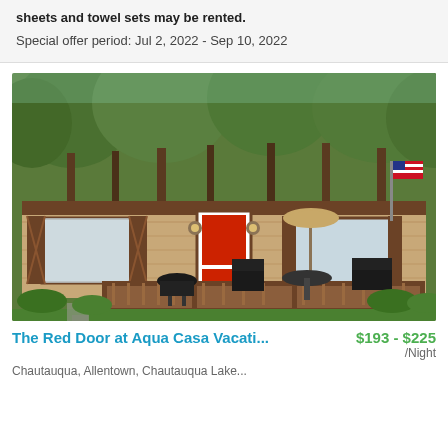sheets and towel sets may be rented.
Special offer period: Jul 2, 2022 - Sep 10, 2022
[Figure (photo): Exterior photo of a ranch-style house with brown trim, red door, outdoor deck with patio furniture, grill, umbrella, American flag, surrounded by green trees and lawn]
The Red Door at Aqua Casa Vacati...
$193 - $225 /Night